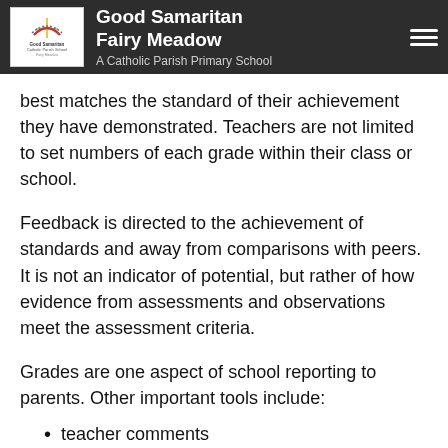Good Samaritan Fairy Meadow — A Catholic Parish Primary School
best matches the standard of their achievement they have demonstrated. Teachers are not limited to set numbers of each grade within their class or school.
Feedback is directed to the achievement of standards and away from comparisons with peers. It is not an indicator of potential, but rather of how evidence from assessments and observations meet the assessment criteria.
Grades are one aspect of school reporting to parents. Other important tools include:
teacher comments
parent-teacher interviews
information about student effort and application